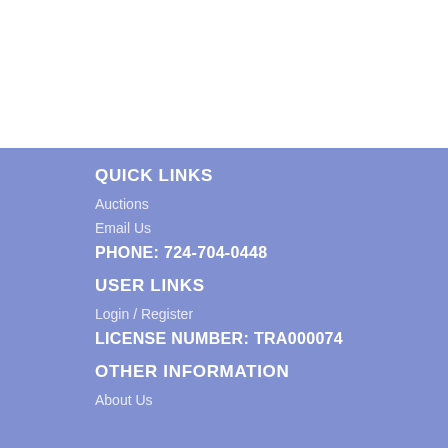QUICK LINKS
Auctions
Email Us
PHONE: 724-704-0448
USER LINKS
Login / Register
LICENSE NUMBER: TRA000074
OTHER INFORMATION
About Us